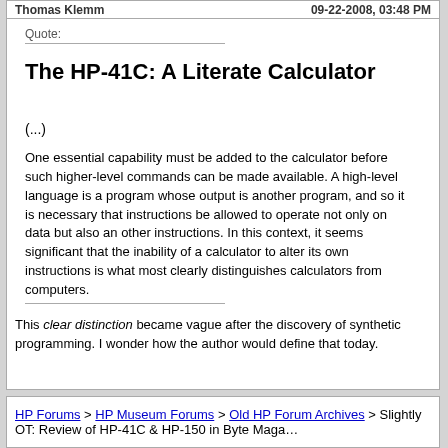Thomas Klemm | 09-22-2008, 03:48 PM
Quote:
The HP-41C: A Literate Calculator
(...)
One essential capability must be added to the calculator before such higher-level commands can be made available. A high-level language is a program whose output is another program, and so it is necessary that instructions be allowed to operate not only on data but also an other instructions. In this context, it seems significant that the inability of a calculator to alter its own instructions is what most clearly distinguishes calculators from computers.
This clear distinction became vague after the discovery of synthetic programming. I wonder how the author would define that today.
HP Forums > HP Museum Forums > Old HP Forum Archives > Slightly OT: Review of HP-41C & HP-15C in Byte Magazine